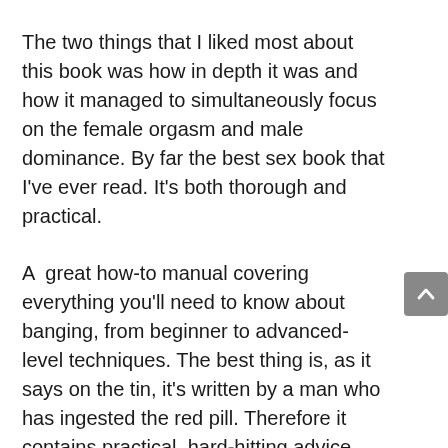The two things that I liked most about this book was how in depth it was and how it managed to simultaneously focus on the female orgasm and male dominance. By far the best sex book that I've ever read. It's both thorough and practical.
A  great how-to manual covering everything you'll need to know about banging, from beginner to advanced-level techniques. The best thing is, as it says on the tin, it's written by a man who has ingested the red pill. Therefore it contains practical, hard-hitting advice that is recognizes female psychology for what it is, and avoids the kind of new-age bullshit that you get in mainstream guides about better lovemaking for couples, and how to satisfy